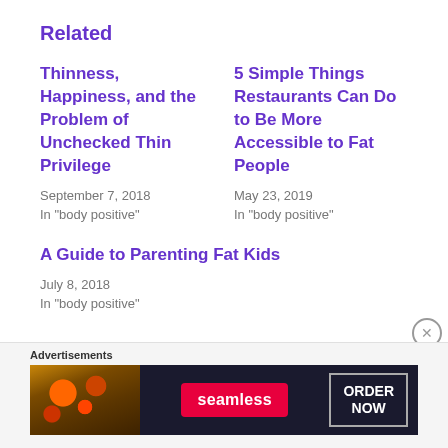Related
Thinness, Happiness, and the Problem of Unchecked Thin Privilege
September 7, 2018
In "body positive"
5 Simple Things Restaurants Can Do to Be More Accessible to Fat People
May 23, 2019
In "body positive"
A Guide to Parenting Fat Kids
July 8, 2018
In "body positive"
Advertisements
[Figure (other): Seamless food delivery advertisement banner showing pizza image on left, Seamless logo in center, and ORDER NOW button on right]